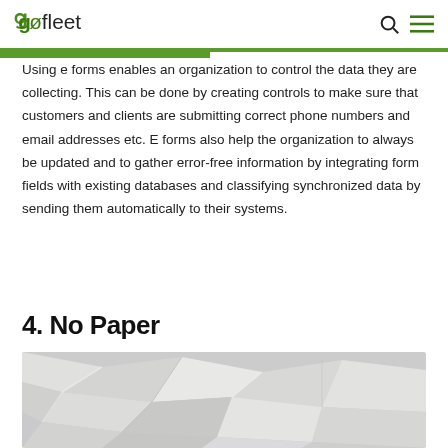gofleet
Using e forms enables an organization to control the data they are collecting. This can be done by creating controls to make sure that customers and clients are submitting correct phone numbers and email addresses etc. E forms also help the organization to always be updated and to gather error-free information by integrating form fields with existing databases and classifying synchronized data by sending them automatically to their systems.
4. No Paper
[Figure (photo): Crumpled white paper background texture]